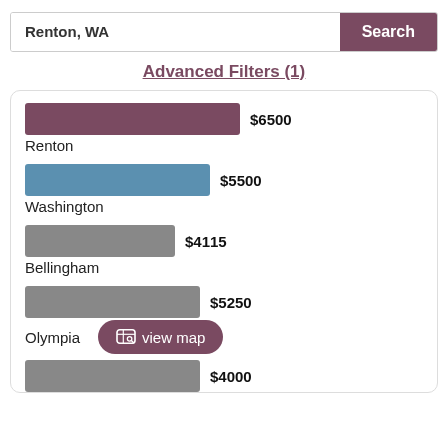Renton, WA
Advanced Filters (1)
[Figure (bar-chart): City rental prices]